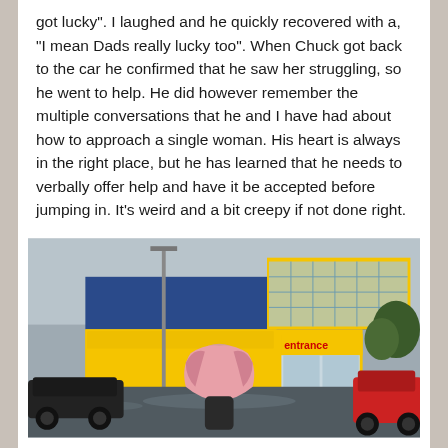got lucky". I laughed and he quickly recovered with a, "I mean Dads really lucky too". When Chuck got back to the car he confirmed that he saw her struggling, so he went to help. He did however remember the multiple conversations that he and I have had about how to approach a single woman. His heart is always in the right place, but he has learned that he needs to verbally offer help and have it be accepted before jumping in. It's weird and a bit creepy if not done right.
[Figure (photo): Photo of a person holding a pink blanket over their head in a rainy parking lot outside an IKEA store. The building has a distinctive yellow and blue facade with an 'entrance' sign visible. Several cars are parked in the wet lot.]